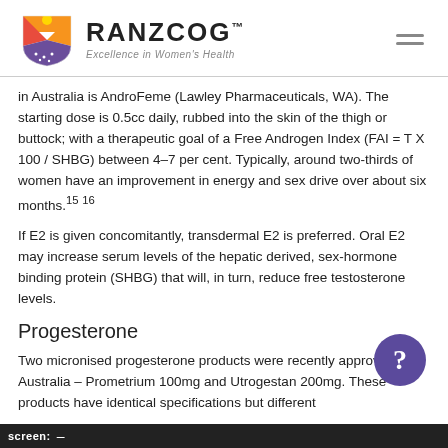[Figure (logo): RANZCOG logo with shield graphic and tagline 'Excellence in Women's Health']
in Australia is AndroFeme (Lawley Pharmaceuticals, WA). The starting dose is 0.5cc daily, rubbed into the skin of the thigh or buttock; with a therapeutic goal of a Free Androgen Index (FAI = T X 100 / SHBG) between 4–7 per cent. Typically, around two-thirds of women have an improvement in energy and sex drive over about six months.15 16
If E2 is given concomitantly, transdermal E2 is preferred. Oral E2 may increase serum levels of the hepatic derived, sex-hormone binding protein (SHBG) that will, in turn, reduce free testosterone levels.
Progesterone
Two micronised progesterone products were recently approved in Australia – Prometrium 100mg and Utrogestan 200mg. These products have identical specifications but different